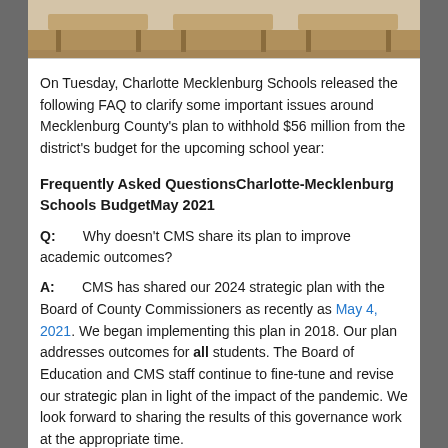[Figure (photo): Photo of school desks/classroom furniture viewed from above or side angle]
On Tuesday, Charlotte Mecklenburg Schools released the following FAQ to clarify some important issues around Mecklenburg County's plan to withhold $56 million from the district's budget for the upcoming school year:
Frequently Asked QuestionsCharlotte-Mecklenburg Schools BudgetMay 2021
Q:        Why doesn't CMS share its plan to improve academic outcomes?
A:        CMS has shared our 2024 strategic plan with the Board of County Commissioners as recently as May 4, 2021. We began implementing this plan in 2018. Our plan addresses outcomes for all students. The Board of Education and CMS staff continue to fine-tune and revise our strategic plan in light of the impact of the pandemic. We look forward to sharing the results of this governance work at the appropriate time.